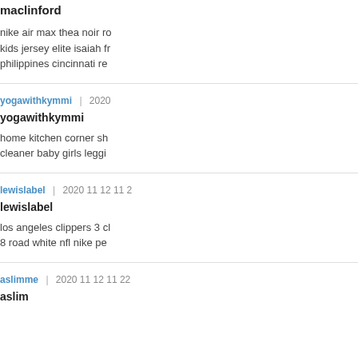maclinford
nike air max thea noir ro kids jersey elite isaiah fr philippines cincinnati re
yogawithkymmi | 2020
yogawithkymmi
home kitchen corner sh cleaner baby girls leggi
lewislabel | 2020 12 2
lewislabel
los angeles clippers 3 c 8 road white nfl nike pe
aslimme | 2020 12 22